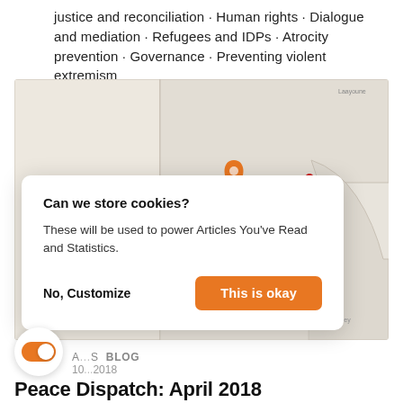justice and reconciliation · Human rights · Dialogue and mediation · Refugees and IDPs · Atrocity prevention · Governance · Preventing violent extremism
[Figure (map): Map showing West Africa region including Mauritania with an orange location pin and several red dot markers indicating locations of interest]
Can we store cookies?
These will be used to power Articles You've Read and Statistics.
No, Customize   This is okay
A... S  BLOG
10...2018
Peace Dispatch: April 2018